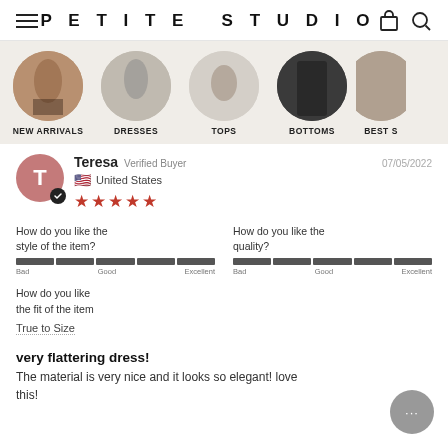PETITE STUDiO
[Figure (screenshot): Navigation strip with circular category images: NEW ARRIVALS, DRESSES, TOPS, BOTTOMS, BEST S...]
Teresa  Verified Buyer  07/05/2022  United States  ★★★★★
How do you like the style of the item?  Bad — Good — Excellent
How do you like the quality?  Bad — Good — Excellent
How do you like the fit of the item
True to Size
very flattering dress!
The material is very nice and it looks so elegant! love this!